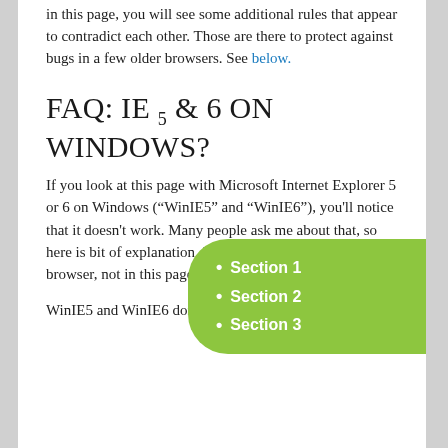in this page, you will see some additional rules that appear to contradict each other. Those are there to protect against bugs in a few older browsers. See below.
FAQ: IE 5 & 6 ON WINDOWS?
Section 1
Section 2
Section 3
If you look at this page with Microsoft Internet Explorer 5 or 6 on Windows (“WinIE5” and “WinIE6”), you'll notice that it doesn't work. Many people ask me about that, so here is bit of explanation. In brief: the bug is in the browser, not in this page.
WinIE5 and WinIE6 don't implement 'fixed'. The...